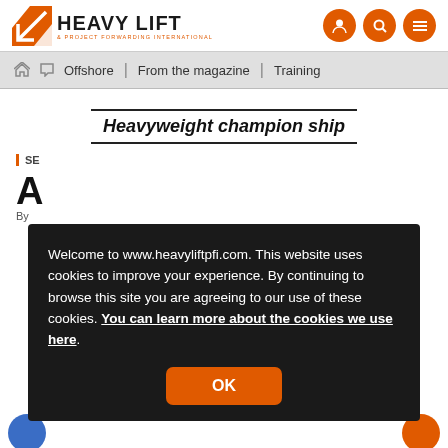HEAVY LIFT & PROJECT FORWARDING INTERNATIONAL
Offshore | From the magazine | Training
Heavyweight champion ship
SE...
A...
By...
Welcome to www.heavyliftpfi.com. This website uses cookies to improve your experience. By continuing to browse this site you are agreeing to our use of these cookies. You can learn more about the cookies we use here.